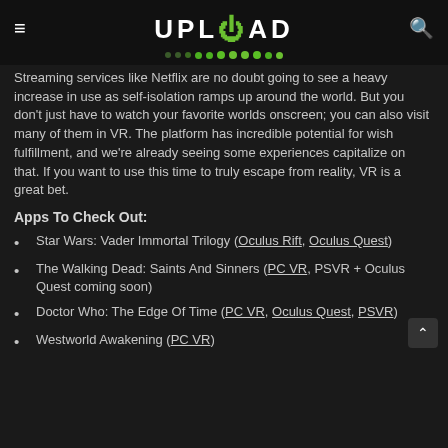UPLOAD
Streaming services like Netflix are no doubt going to see a heavy increase in use as self-isolation ramps up around the world. But you don't just have to watch your favorite worlds onscreen; you can also visit many of them in VR. The platform has incredible potential for wish fulfillment, and we're already seeing some experiences capitalize on that. If you want to use this time to truly escape from reality, VR is a great bet.
Apps To Check Out:
Star Wars: Vader Immortal Trilogy (Oculus Rift, Oculus Quest)
The Walking Dead: Saints And Sinners (PC VR, PSVR + Oculus Quest coming soon)
Doctor Who: The Edge Of Time (PC VR, Oculus Quest, PSVR)
Westworld Awakening (PC VR)